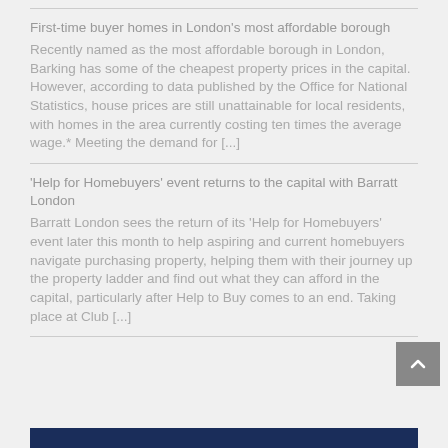First-time buyer homes in London's most affordable borough
Recently named as the most affordable borough in London, Barking has some of the cheapest property prices in the capital. However, according to data published by the Office for National Statistics, house prices are still unattainable for local residents, with homes in the area currently costing ten times the average wage.* Meeting the demand for [...]
'Help for Homebuyers' event returns to the capital with Barratt London
Barratt London sees the return of its 'Help for Homebuyers' event later this month to help aspiring and current homebuyers navigate purchasing property, helping them with their journey up the property ladder and find out what they can afford in the capital, particularly after Help to Buy comes to an end. Taking place at Club [...]